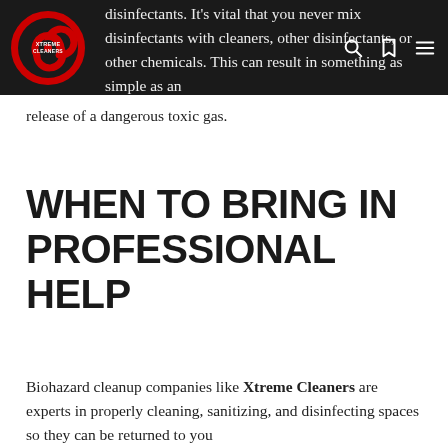Xtreme Cleaners — navigation header with logo
disinfectants. It's vital that you never mix disinfectants with cleaners, other disinfectants, or other chemicals. This can result in something as simple as an ineffective disinfecting agent or as extreme as the release of a dangerous toxic gas.
WHEN TO BRING IN PROFESSIONAL HELP
Biohazard cleanup companies like Xtreme Cleaners are experts in properly cleaning, sanitizing, and disinfecting spaces so they can be returned to you